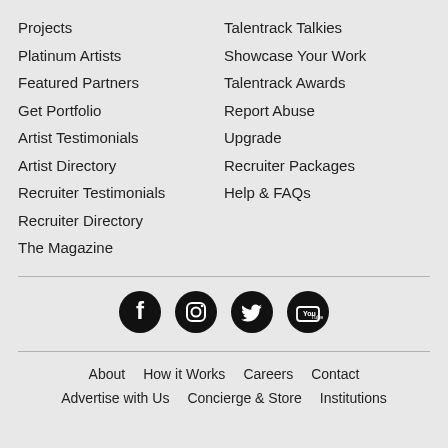Projects
Talentrack Talkies
Platinum Artists
Showcase Your Work
Featured Partners
Talentrack Awards
Get Portfolio
Report Abuse
Artist Testimonials
Upgrade
Artist Directory
Recruiter Packages
Recruiter Testimonials
Help & FAQs
Recruiter Directory
The Magazine
[Figure (infographic): Social media icons: Facebook, Instagram, Twitter, YouTube — black circles with white icons]
About   How it Works   Careers   Contact
Advertise with Us   Concierge & Store   Institutions